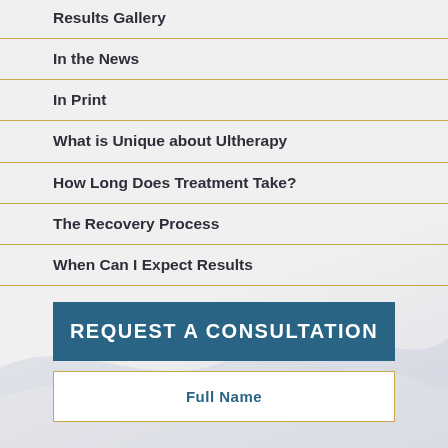Results Gallery
In the News
In Print
What is Unique about Ultherapy
How Long Does Treatment Take?
The Recovery Process
When Can I Expect Results
REQUEST A CONSULTATION
Full Name